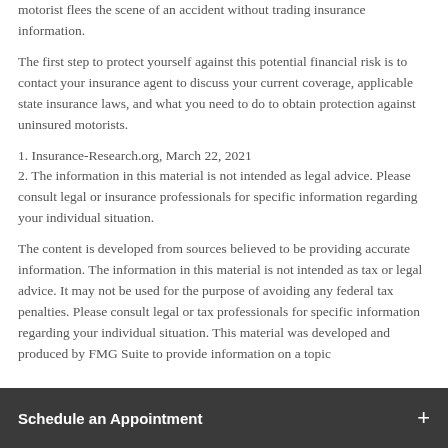motorist flees the scene of an accident without trading insurance information.
The first step to protect yourself against this potential financial risk is to contact your insurance agent to discuss your current coverage, applicable state insurance laws, and what you need to do to obtain protection against uninsured motorists.
1. Insurance-Research.org, March 22, 2021
2. The information in this material is not intended as legal advice. Please consult legal or insurance professionals for specific information regarding your individual situation.
The content is developed from sources believed to be providing accurate information. The information in this material is not intended as tax or legal advice. It may not be used for the purpose of avoiding any federal tax penalties. Please consult legal or tax professionals for specific information regarding your individual situation. This material was developed and produced by FMG Suite to provide information on a topic
Schedule an Appointment